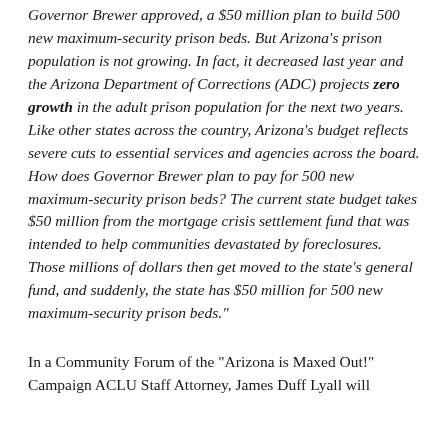Governor Brewer approved, a $50 million plan to build 500 new maximum-security prison beds. But Arizona's prison population is not growing. In fact, it decreased last year and the Arizona Department of Corrections (ADC) projects zero growth in the adult prison population for the next two years. Like other states across the country, Arizona's budget reflects severe cuts to essential services and agencies across the board. How does Governor Brewer plan to pay for 500 new maximum-security prison beds? The current state budget takes $50 million from the mortgage crisis settlement fund that was intended to help communities devastated by foreclosures. Those millions of dollars then get moved to the state's general fund, and suddenly, the state has $50 million for 500 new maximum-security prison beds."
In a Community Forum of the "Arizona is Maxed Out!" Campaign ACLU Staff Attorney, James Duff Lyall will